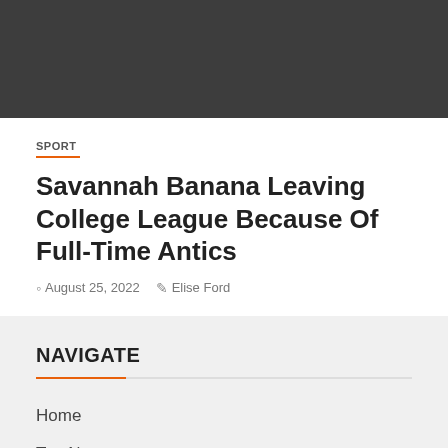[Figure (photo): Dark gray image block at the top of the page]
SPORT
Savannah Banana Leaving College League Because Of Full-Time Antics
August 25, 2022   Elise Ford
NAVIGATE
Home
Top News
World
Economy